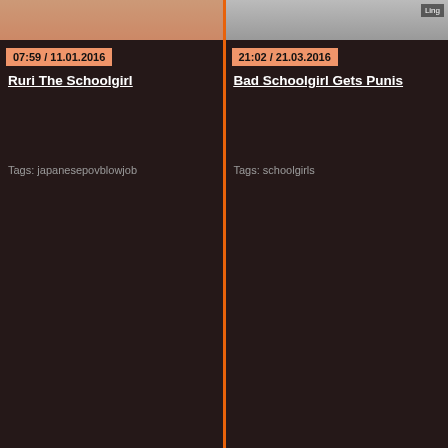[Figure (screenshot): Two video thumbnail cards side by side on dark background. Left card shows blurred skin-toned image, right card shows grayscale image with 'Ling' label.]
07:59 / 11.01.2016
Ruri The Schoolgirl
Tags: japanesepovblowjob
21:02 / 21.03.2016
Bad Schoolgirl Gets Punis
Tags: schoolgirls
1  2  3  Next →
VIDEO BY
Fat Mature   Saggy Tits   Germa